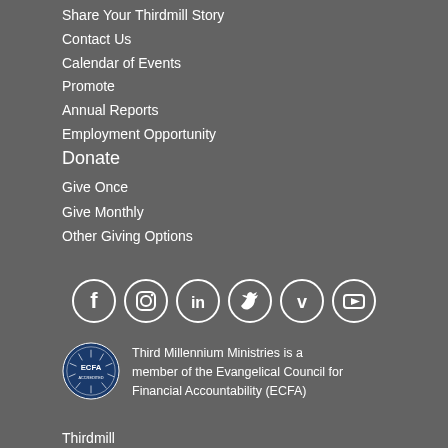Share Your Thirdmill Story
Contact Us
Calendar of Events
Promote
Annual Reports
Employment Opportunity
Donate
Give Once
Give Monthly
Other Giving Options
[Figure (infographic): Social media icons: Facebook, Instagram, LinkedIn, Twitter, Vimeo, YouTube]
[Figure (logo): ECFA Accredited seal logo]
Third Millennium Ministries is a member of the Evangelical Council for Financial Accountability (ECFA)
Thirdmill